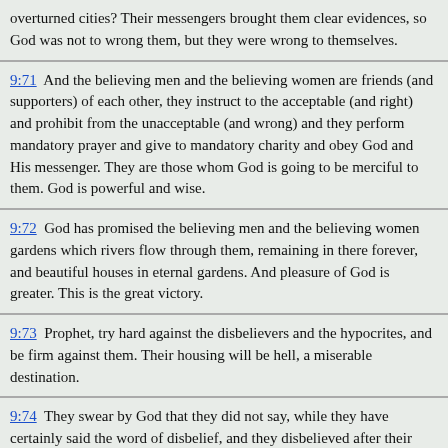overturned cities? Their messengers brought them clear evidences, so God was not to wrong them, but they were wrong to themselves.
9:71  And the believing men and the believing women are friends (and supporters) of each other, they instruct to the acceptable (and right) and prohibit from the unacceptable (and wrong) and they perform mandatory prayer and give to mandatory charity and obey God and His messenger. They are those whom God is going to be merciful to them. God is powerful and wise.
9:72  God has promised the believing men and the believing women gardens which rivers flow through them, remaining in there forever, and beautiful houses in eternal gardens. And pleasure of God is greater. This is the great victory.
9:73  Prophet, try hard against the disbelievers and the hypocrites, and be firm against them. Their housing will be hell, a miserable destination.
9:74  They swear by God that they did not say, while they have certainly said the word of disbelief, and they disbelieved after their submission, and they tried for what they did not get. They were only resentful because God and His messenger enriched them out of His grace. So if they repent, it would be better for them, and if they turn away, God punishes them with a painful punishment in this world and the Hereafter, and there is no